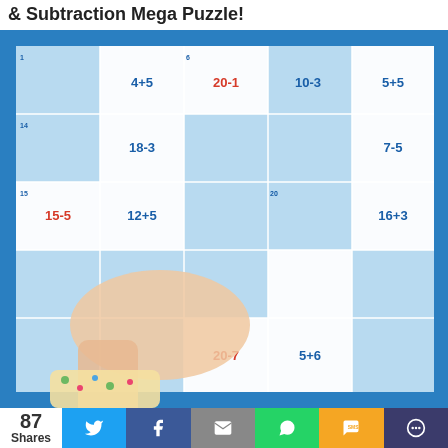& Subtraction Mega Puzzle!
[Figure (photo): A child's hand placing a puzzle piece on a large colorful math puzzle with cartoon monsters. The puzzle tiles show arithmetic problems: 4+5, 20-1, 10-3, 5+5, 18-3, 7-5, 15-5, 12+5, 16+3, 20-7, 5+6.]
87 Shares